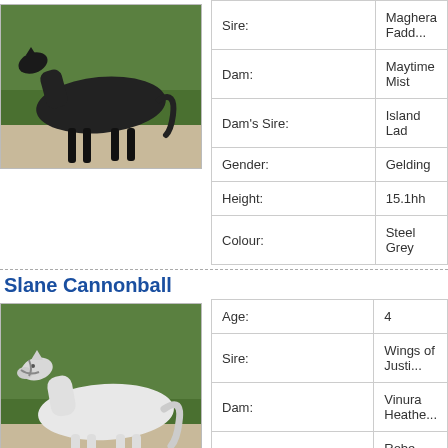[Figure (photo): Dark horse standing sideways on gravel with green hedge background]
| Sire: | Maghera Fadd... |
| Dam: | Maytime Mist |
| Dam's Sire: | Island Lad |
| Gender: | Gelding |
| Height: | 15.1hh |
| Colour: | Steel Grey |
Slane Cannonball
[Figure (photo): White/grey horse standing sideways on gravel with green hedge background]
| Age: | 4 |
| Sire: | Wings of Justi... |
| Dam: | Vinura Heathe... |
| Dam's Sire: | Robe Earl |
| Gender: | Geldi... |